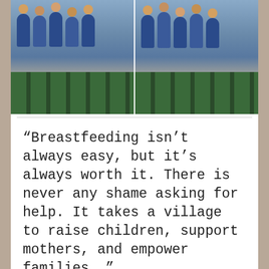[Figure (photo): Two group photos of people in blue shirts sitting in green stadium seats]
“Breastfeeding isn’t always easy, but it’s always worth it. There is never any shame asking for help. It takes a village to raise children, support mothers, and empower families. ”
-Maryah Boozer, CLS & PC
[Figure (photo): Blurry indoor photo of people gathered at an event or venue]